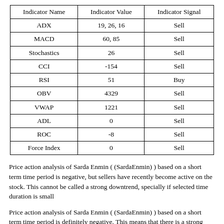| Indicator Name | Indicator Value | Indicator Signal |
| --- | --- | --- |
| ADX | 19, 26, 16 | Sell |
| MACD | 60, 85 | Sell |
| Stochastics | 26 | Sell |
| CCI | -154 | Sell |
| RSI | 51 | Buy |
| OBV | 4329 | Sell |
| VWAP | 1221 | Sell |
| ADL | 0 | Sell |
| ROC | -8 | Sell |
| Force Index | 0 | Sell |
Price action analysis of Sarda Enmin ( (SardaEnmin) ) based on a short term time period is negative, but sellers have recently become active on the stock. This cannot be called a strong downtrend, specially if selected time duration is small
Price action analysis of Sarda Enmin ( (SardaEnmin) ) based on a short term time period is definitely negative. This means that there is a strong downtrend in the stock for given time period